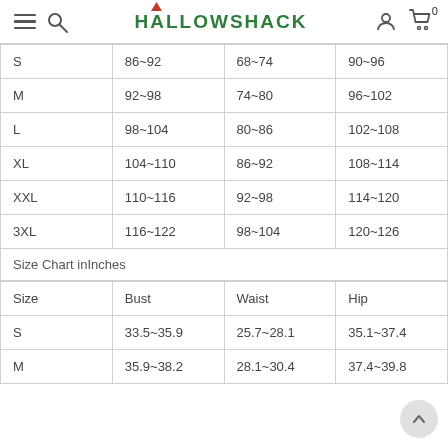HALLOWSHACK
| Size | Bust | Waist | Hip |
| --- | --- | --- | --- |
| S | 86~92 | 68~74 | 90~96 |
| M | 92~98 | 74~80 | 96~102 |
| L | 98~104 | 80~86 | 102~108 |
| XL | 104~110 | 86~92 | 108~114 |
| XXL | 110~116 | 92~98 | 114~120 |
| 3XL | 116~122 | 98~104 | 120~126 |
Size Chart inInches
| Size | Bust | Waist | Hip |
| --- | --- | --- | --- |
| S | 33.5~35.9 | 25.7~28.1 | 35.1~37.4 |
| M | 35.9~38.2 | 28.1~30.4 | 37.4~39.8 |